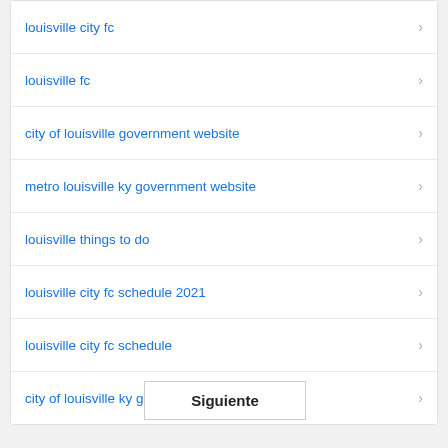louisville city fc
louisville fc
city of louisville government website
metro louisville ky government website
louisville things to do
louisville city fc schedule 2021
louisville city fc schedule
city of louisville ky government
Siguiente